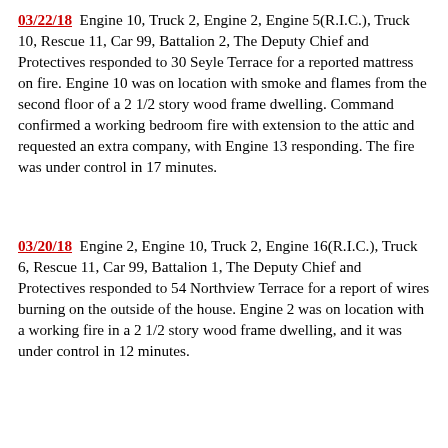03/22/18  Engine 10, Truck 2, Engine 2, Engine 5(R.I.C.), Truck 10, Rescue 11, Car 99, Battalion 2, The Deputy Chief and Protectives responded to 30 Seyle Terrace for a reported mattress on fire. Engine 10 was on location with smoke and flames from the second floor of a 2 1/2 story wood frame dwelling. Command confirmed a working bedroom fire with extension to the attic and requested an extra company, with Engine 13 responding. The fire was under control in 17 minutes.
03/20/18  Engine 2, Engine 10, Truck 2, Engine 16(R.I.C.), Truck 6, Rescue 11, Car 99, Battalion 1, The Deputy Chief and Protectives responded to 54 Northview Terrace for a report of wires burning on the outside of the house. Engine 2 was on location with a working fire in a 2 1/2 story wood frame dwelling, and it was under control in 12 minutes.